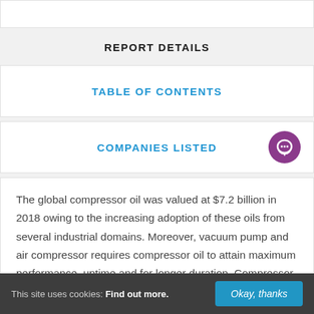REPORT DETAILS
TABLE OF CONTENTS
COMPANIES LISTED
The global compressor oil was valued at $7.2 billion in 2018 owing to the increasing adoption of these oils from several industrial domains. Moreover, vacuum pump and air compressor requires compressor oil to attain maximum performance, uptime and for longer duration. Compressor
This site uses cookies: Find out more. Okay, thanks